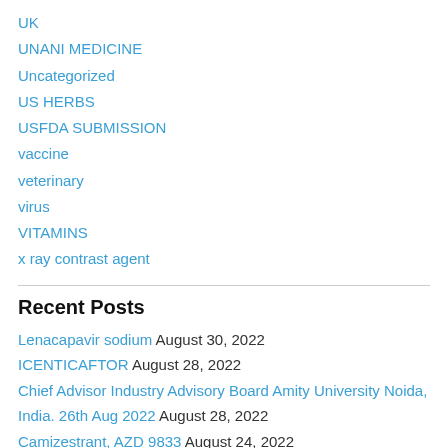UK
UNANI MEDICINE
Uncategorized
US HERBS
USFDA SUBMISSION
vaccine
veterinary
virus
VITAMINS
x ray contrast agent
Recent Posts
Lenacapavir sodium August 30, 2022
ICENTICAFTOR August 28, 2022
Chief Advisor Industry Advisory Board Amity University Noida, India. 26th Aug 2022 August 28, 2022
Camizestrant, AZD 9833 August 24, 2022
GEMCITABINE August 19, 2022